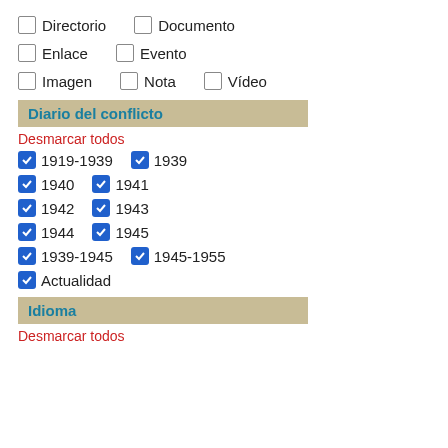Directorio  Documento
Enlace  Evento
Imagen  Nota  Vídeo
Diario del conflicto
Desmarcar todos
1919-1939  1939
1940  1941
1942  1943
1944  1945
1939-1945  1945-1955
Actualidad
Idioma
Desmarcar todos